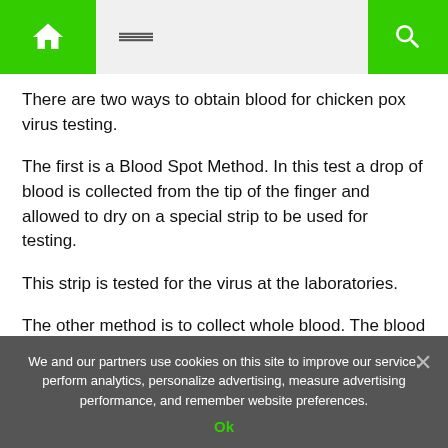Home / Menu / Search navigation bar
There are two ways to obtain blood for chicken pox virus testing.
The first is a Blood Spot Method. In this test a drop of blood is collected from the tip of the finger and allowed to dry on a special strip to be used for testing.
This strip is tested for the virus at the laboratories.
The other method is to collect whole blood. The blood is collected in serum separator vacutainer or vaccuum tubes.
The sample is allowed to clot fully be allowing to stand in room
We and our partners use cookies on this site to improve our service, perform analytics, personalize advertising, measure advertising performance, and remember website preferences.